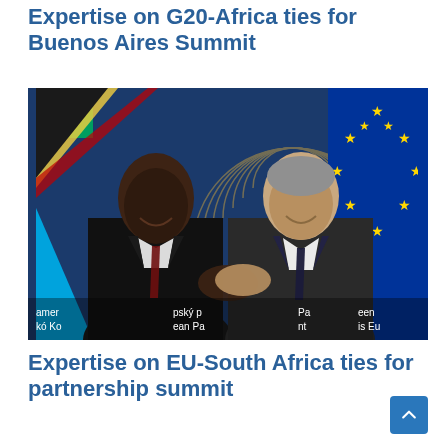Expertise on G20-Africa ties for Buenos Aires Summit
[Figure (photo): Two men in suits shaking hands in front of EU Parliament backdrop and flags including Tanzania flag and EU flag, with European Parliament signage visible at bottom]
Expertise on EU-South Africa ties for partnership summit